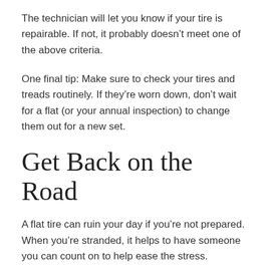The technician will let you know if your tire is repairable. If not, it probably doesn't meet one of the above criteria.
One final tip: Make sure to check your tires and treads routinely. If they're worn down, don't wait for a flat (or your annual inspection) to change them out for a new set.
Get Back on the Road
A flat tire can ruin your day if you're not prepared. When you're stranded, it helps to have someone you can count on to help ease the stress.